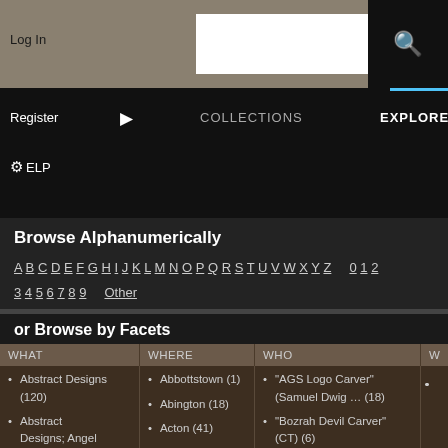Log In | COLLECTIONS | EXPLORE | CREATE | HELP
Browse Alphanumerically
A B C D E F G H I J K L M N O P Q R S T U V W X Y Z 0 1 2 3 4 5 6 7 8 9 Other
or Browse by Facets
| WHAT | WHERE | WHO | W |
| --- | --- | --- | --- |
| Abstract Designs (120)
Abstract Designs; Angel Blowin … (2)
Abstract Designs; Angels (2) | Abbottstown (1)
Abington (18)
Acton (41)
Albany (1)
Amenia (10)
Amherst (22) | "AGS Logo Carver" (Samuel Dwig … (18)
"Bozrah Devil Carver" (CT) (6)
"Bug-Eye Carver" (14)
"Charlestown Helmet Head" Skul … (5)
"Drake Imitator" (CT) (5) |  |